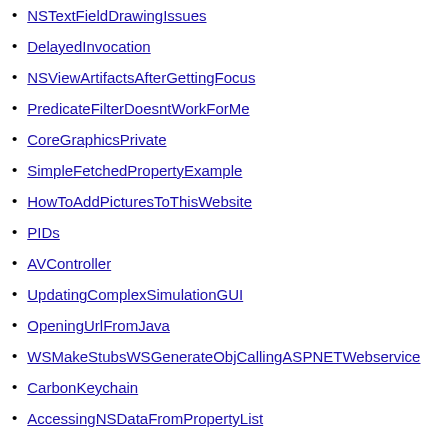NSTextFieldDrawingIssues
DelayedInvocation
NSViewArtifactsAfterGettingFocus
PredicateFilterDoesntWorkForMe
CoreGraphicsPrivate
SimpleFetchedPropertyExample
HowToAddPicturesToThisWebsite
PIDs
AVController
UpdatingComplexSimulationGUI
OpeningUrlFromJava
WSMakeStubsWSGenerateObjCallingASPNETWebservice
CarbonKeychain
AccessingNSDataFromPropertyList